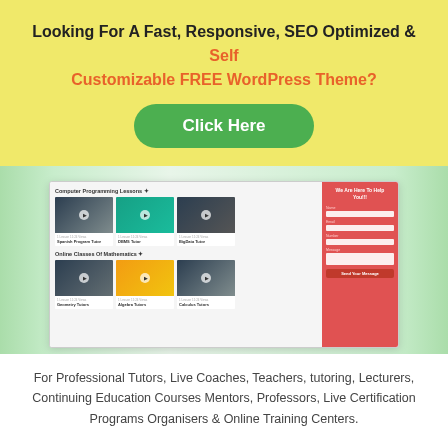Looking For A Fast, Responsive, SEO Optimized & Self Customizable FREE WordPress Theme?
[Figure (other): Green 'Click Here' button]
[Figure (screenshot): Screenshot of a WordPress theme showing Computer Programming Lessons and Online Classes Of Mathematics sections with video thumbnails and a contact form sidebar]
For Professional Tutors, Live Coaches, Teachers, tutoring, Lecturers, Continuing Education Courses Mentors, Professors, Live Certification Programs Organisers & Online Training Centers.
Theme Description